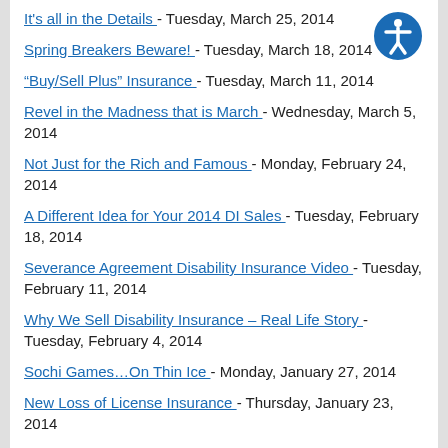It's all in the Details - Tuesday, March 25, 2014
Spring Breakers Beware! - Tuesday, March 18, 2014
"Buy/Sell Plus" Insurance - Tuesday, March 11, 2014
Revel in the Madness that is March - Wednesday, March 5, 2014
Not Just for the Rich and Famous - Monday, February 24, 2014
A Different Idea for Your 2014 DI Sales - Tuesday, February 18, 2014
Severance Agreement Disability Insurance Video - Tuesday, February 11, 2014
Why We Sell Disability Insurance – Real Life Story - Tuesday, February 4, 2014
Sochi Games…On Thin Ice - Monday, January 27, 2014
New Loss of License Insurance - Thursday, January 23, 2014
Planning for the Unthinkable – a Kidnapping - Tuesday, January 14, 2014
Clear & Present Danger - Tuesday, January 7, 2014